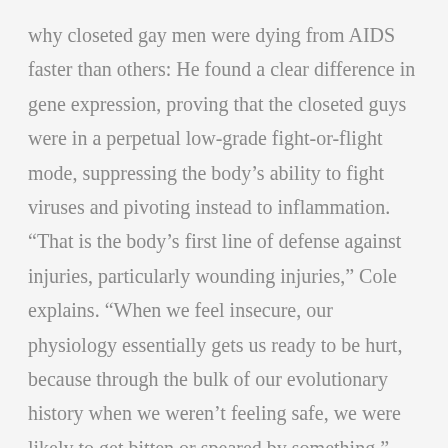why closeted gay men were dying from AIDS faster than others: He found a clear difference in gene expression, proving that the closeted guys were in a perpetual low-grade fight-or-flight mode, suppressing the body’s ability to fight viruses and pivoting instead to inflammation. “That is the body’s first line of defense against injuries, particularly wounding injuries,” Cole explains. “When we feel insecure, our physiology essentially gets us ready to be hurt, because through the bulk of our evolutionary history when we weren’t feeling safe, we were likely to get bitten or speared by something.”
Around the time he was making this discovery, Cole was awarded the kind of